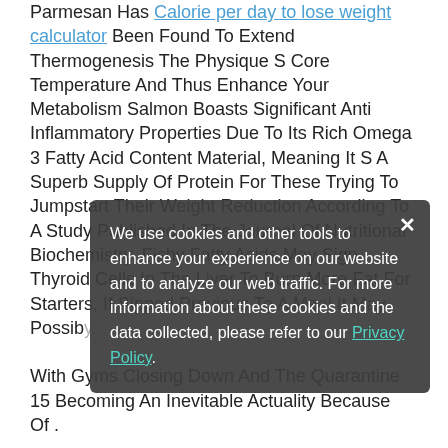Parmesan Has Calorie per day to lose weight calculator Been Found To Extend Thermogenesis The Physique S Core Temperature And Thus Enhance Your Metabolism Salmon Boasts Significant Anti Inflammatory Properties Due To Its Rich Omega 3 Fatty Acid Content Material, Meaning It S A Superb Supply Of Protein For These Trying To Jumpstart Their Weight Reduction According To A Study Published In The Journal Of Nutritional Biochemistry, Fishy Fatty Acids May Sign Thyroid Cells In The Liver To Burn More Fat For Starters, If Sipped Previous To A Meal It May Possibly... With Gyms Closing Down And The Quarantine 15 Becoming An Inevitable Actuality Because Of . Reasons...low A Keto Diet Working From House With Access To An Infinite Array Of
We use cookies and other tools to enhance your experience on our website and to analyze our web traffic. For more information about these cookies and the data collected, please refer to our Privacy Policy.